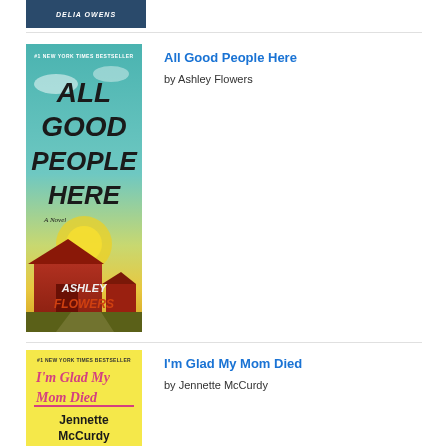[Figure (photo): Top of a book cover showing 'DELIA OWENS' author name in bold white letters on dark blue background]
[Figure (photo): Book cover of 'All Good People Here' by Ashley Flowers. Text '#1 NEW YORK TIMES BESTSELLER' at top. Large dark handwritten-style text 'ALL GOOD PEOPLE HERE' in center over teal sky background. 'A Novel' label. Red barn in foreground. Author name 'ASHLEY FLOWERS' at bottom with 'FLOWERS' in red/orange.]
All Good People Here
by Ashley Flowers
[Figure (photo): Book cover of 'I'm Glad My Mom Died' by Jennette McCurdy. Yellow background. '#1 NEW YORK TIMES BESTSELLER' at top. Pink text 'I'm Glad My Mom Died'. Black text 'Jennette McCurdy' at bottom.]
I'm Glad My Mom Died
by Jennette McCurdy